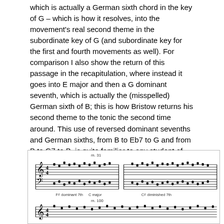which is actually a German sixth chord in the key of G – which is how it resolves, into the movement's real second theme in the subordinate key of G (and subordinate key for the first and fourth movements as well). For comparison I also show the return of this passage in the recapitulation, where instead it goes into E major and then a G dominant seventh, which is actually the (misspelled) German sixth of B; this is how Bristow returns his second theme to the tonic the second time around. This use of reversed dominant sevenths and German sixths, from B to Eb7 to G and from B to G7 to B, is quite familiar to any student of the music of Schubert, Brahms, and other Romantics. I make this rather boring technical point merely to emphasize how comfortable Bristow was using the same tricks of the trade as his European contemporaries.
[Figure (illustration): Sheet music excerpt showing musical notation with labels: m. 31, F# dominant 7th, C major, C# diminished 7th, m. 100]